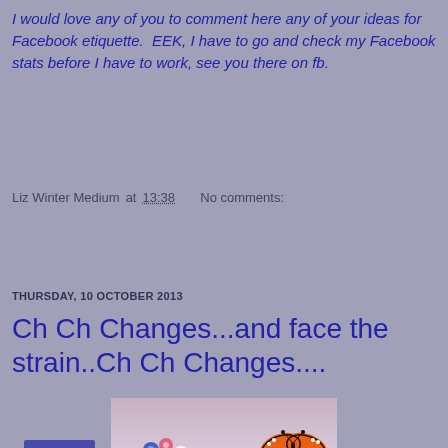I would love any of you to comment here any of your ideas for Facebook etiquette.  EEK, I have to go and check my Facebook stats before I have to work, see you there on fb.
Liz Winter Medium at 13:38   No comments:
Share
THURSDAY, 10 OCTOBER 2013
Ch Ch Changes...and face the strain..Ch Ch Changes....
[Figure (photo): Photo of colorful flowers and a monarch butterfly against a light sky background]